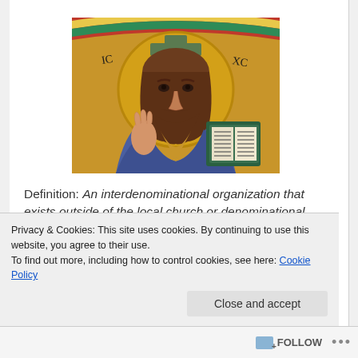[Figure (illustration): Byzantine mosaic of Christ Pantocrator — a bearded figure with long hair, wearing a blue robe, right hand raised in blessing, left hand holding an open book with text. Golden halo with cross behind head, gold mosaic background, colored arch border at top.]
Definition: An interdenominational organization that exists outside of the local church or denominational structures, usually in order to facilitate or provide...
Privacy & Cookies: This site uses cookies. By continuing to use this website, you agree to their use.
To find out more, including how to control cookies, see here: Cookie Policy
Close and accept
FOLLOW ···